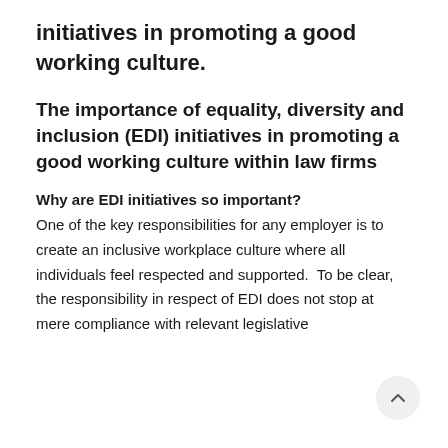initiatives in promoting a good working culture.
The importance of equality, diversity and inclusion (EDI) initiatives in promoting a good working culture within law firms
Why are EDI initiatives so important? One of the key responsibilities for any employer is to create an inclusive workplace culture where all individuals feel respected and supported. To be clear, the responsibility in respect of EDI does not stop at mere compliance with relevant legislative